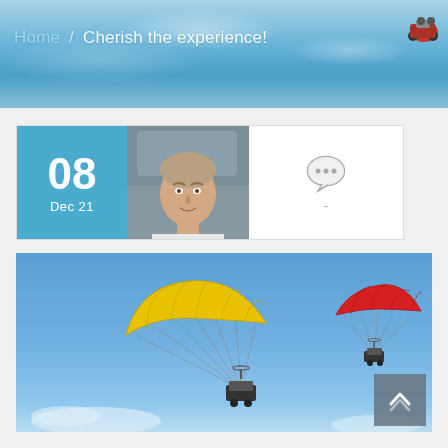Home / Cherish the experience!
[Figure (photo): Post card with date box showing '08 Dec 21', a person's face photo thumbnail, and a comment icon with dash]
[Figure (photo): Outdoor photo of two paragliders with motorized units flying in a blue sky; left one has a yellow canopy, right one has a red canopy; clouds visible at the bottom]